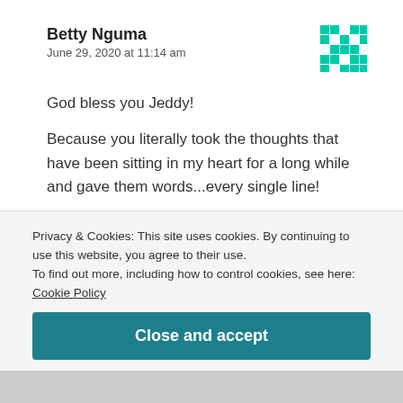Betty Nguma
June 29, 2020 at 11:14 am
[Figure (logo): Green pixel/mosaic pattern avatar icon in top right corner]
God bless you Jeddy!

Because you literally took the thoughts that have been sitting in my heart for a long while and gave them words...every single line!

I'm always a preacher of love because everything we do ought to stem from a place of love, and I believe
Privacy & Cookies: This site uses cookies. By continuing to use this website, you agree to their use.
To find out more, including how to control cookies, see here: Cookie Policy
Close and accept